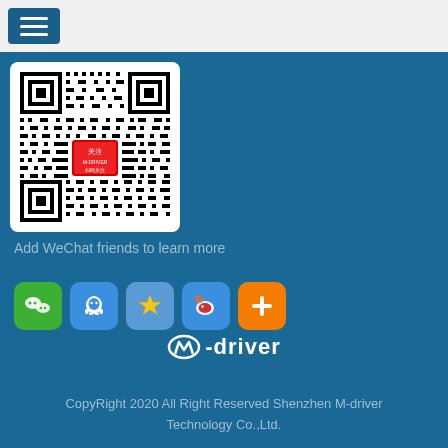[Figure (screenshot): Hamburger menu icon (three horizontal white lines on dark blue background)]
[Figure (other): QR code for adding WeChat friends, with a red badge/label in the center, displayed on white background with rounded corners]
Add WeChat friends to learn more
[Figure (other): Row of five social media app icons: WeChat (green), QQ (blue), Star/Favorites (blue with star), Weibo (blue with red bird), and a plus/add icon (orange)]
[Figure (logo): M-driver logo in white text with a stylized M icon]
CopyRight 2020 All Right Reserved Shenzhen M-driver Technology Co.,Ltd.